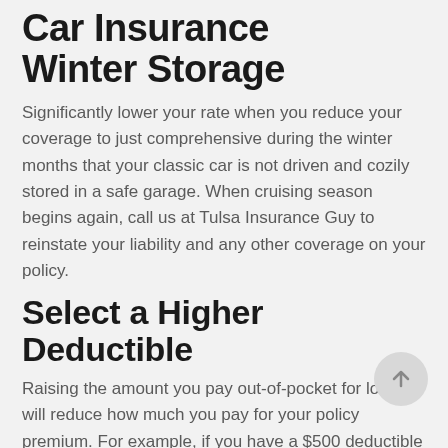Car Insurance Winter Storage
Significantly lower your rate when you reduce your coverage to just comprehensive during the winter months that your classic car is not driven and cozily stored in a safe garage. When cruising season begins again, call us at Tulsa Insurance Guy to reinstate your liability and any other coverage on your policy.
Select a Higher Deductible
Raising the amount you pay out-of-pocket for losses will reduce how much you pay for your policy premium. For example, if you have a $500 deductible